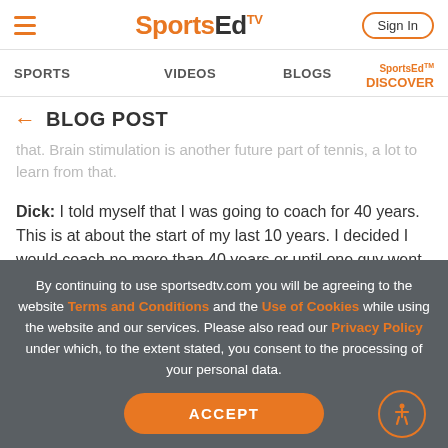SportsEdTV — Sign In
SPORTS   VIDEOS   BLOGS   SportsEd™ DISCOVER
← BLOG POST
that. Brain stimulation is another future part of tennis, a lot to learn from that.
Dick: I told myself that I was going to coach for 40 years. This is at about the start of my last 10 years. I decided I would coach no more than 40 years or until one guy went 4 years and did not earn a championship ring. We
By continuing to use sportsedtv.com you will be agreeing to the website Terms and Conditions and the Use of Cookies while using the website and our services. Please also read our Privacy Policy under which, to the extent stated, you consent to the processing of your personal data.
ACCEPT